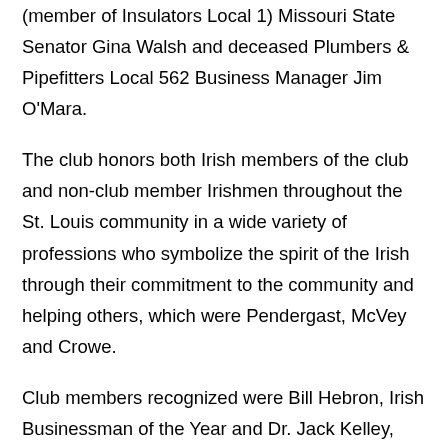(member of Insulators Local 1) Missouri State Senator Gina Walsh and deceased Plumbers & Pipefitters Local 562 Business Manager Jim O'Mara.
The club honors both Irish members of the club and non-club member Irishmen throughout the St. Louis community in a wide variety of professions who symbolize the spirit of the Irish through their commitment to the community and helping others, which were Pendergast, McVey and Crowe.
Club members recognized were Bill Hebron, Irish Businessman of the Year and Dr. Jack Kelley, Irish Physician of the Year.
Walsh also presented Pendergast with a Missouri Senate resolution congratulating Pendergast for his 33 year as a member of Local 4, serving as its business manager/financial